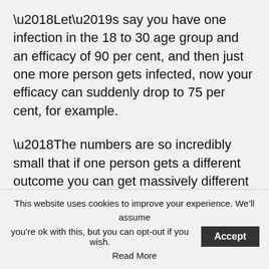‘Let’s say you have one infection in the 18 to 30 age group and an efficacy of 90 per cent, and then just one more person gets infected, now your efficacy can suddenly drop to 75 per cent, for example.
‘The numbers are so incredibly small that if one person gets a different outcome you can get massively different results.’
Yet all of the subgroups in Sputnik’s trial had an efficacy of more than 90 per cent, which Dr Sheldrick said was ‘too identical to be possible’
This website uses cookies to improve your experience. We’ll assume you’re ok with this, but you can opt-out if you wish.
Accept
Read More